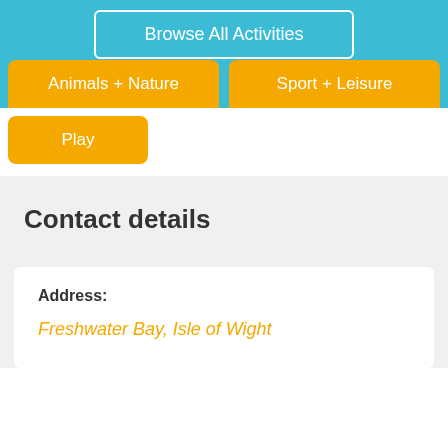Browse All Activities
Animals + Nature
Sport + Leisure
Play
Contact details
Address: Freshwater Bay, Isle of Wight